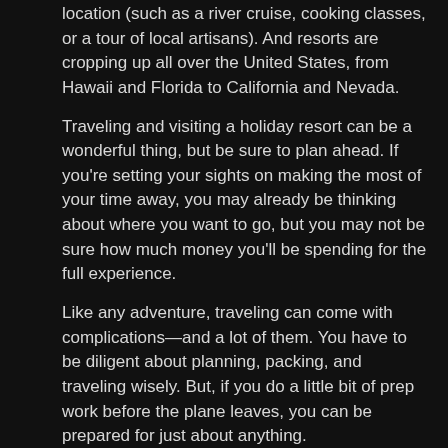location (such as a river cruise, cooking classes, or a tour of local artisans). And resorts are cropping up all over the United States, from Hawaii and Florida to California and Nevada.
Traveling and visiting a holiday resort can be a wonderful thing, but be sure to plan ahead. If you're setting your sights on making the most of your time away, you may already be thinking about where you want to go, but you may not be sure how much money you'll be spending for the full experience.
Like any adventure, traveling can come with complications—and a lot of them. You have to be diligent about planning, packing, and traveling wisely. But, if you do a little bit of prep work before the plane leaves, you can be prepared for just about anything.
How much does the holiday resort experience actually cost? It depends on where the resort is and what kind of holiday resort you want to stay in. If you're on a budget and don't want to put in too much money but still want to enjoy the trip, look for resorts that fit your budget but will still give you the experience you want.